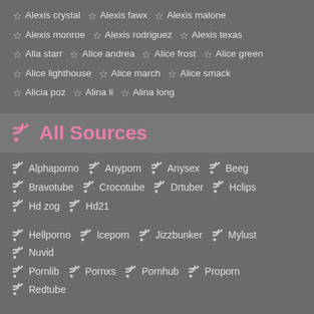☆ Alexis crystal ☆ Alexis fawx ☆ Alexis malone
☆ Alexis monroe ☆ Alexis rodriguez ☆ Alexis texas
☆ Alia starr ☆ Alice andrea ☆ Alice frost ☆ Alice green
☆ Alice lighthouse ☆ Alice march ☆ Alice smack
☆ Alicia poz ☆ Alina li ☆ Alina long
All Sources
Alphaporno Anyporn Anysex Beeg
Bravotube Crocotube Drtuber Hclips
Hd zog Hd21
Hellporno Iceporn Jizzbunker Mylust Nuvid
Pornlib Pornxs Pornhub Proporn Redtube